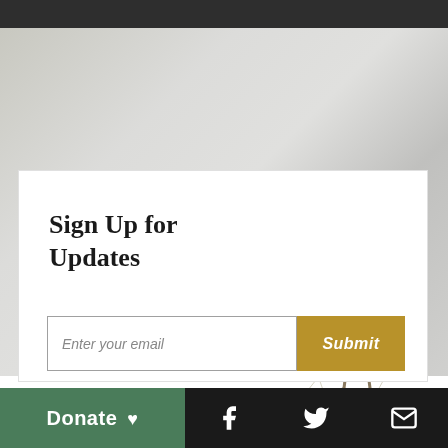[Figure (illustration): Great Blue Heron bird illustration standing tall, with grey-blue plumage, long beak, and long legs, positioned on the right side of the signup card against a marble/stone background]
Sign Up for Updates
Enter your email
Submit
Donate ♥
[Figure (other): Facebook logo icon in white on black background]
[Figure (other): Twitter bird logo icon in white on black background]
[Figure (other): Email envelope icon in white on black background]